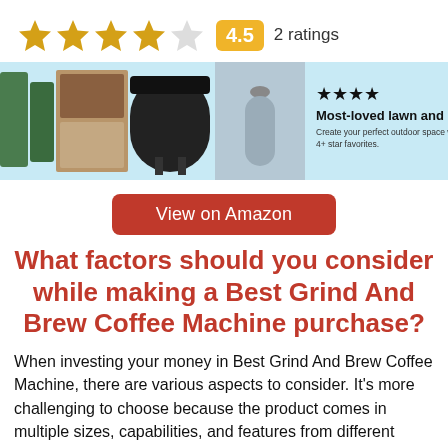[Figure (other): Star rating row: 4 filled gold stars and 1 empty star, score box showing 4.5, text '2 ratings']
[Figure (infographic): Amazon advertisement banner with light blue background showing garden and outdoor products (bottles, grill, hammock chair, basket), black 4-star icons, text 'Most-loved lawn and garden', subtext 'Create your perfect outdoor space with 4+ star favorites.']
View on Amazon
What factors should you consider while making a Best Grind And Brew Coffee Machine purchase?
When investing your money in Best Grind And Brew Coffee Machine, there are various aspects to consider. It's more challenging to choose because the product comes in multiple sizes, capabilities, and features from different merchants. As a result